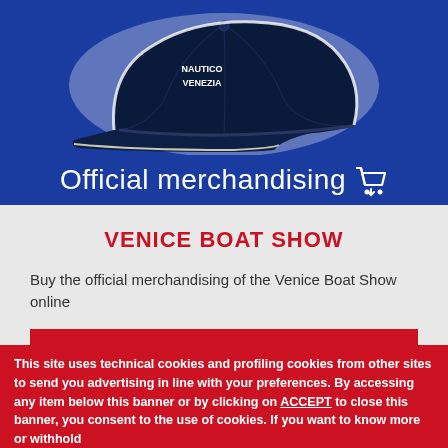[Figure (photo): Navy blue baseball cap with 'NAUTICO VENEZIA' embroidered in white, displayed on a blue background with white outline cutout effect.]
Official merchandising 🛒
VENICE BOAT SHOW
Buy the official merchandising of the Venice Boat Show online
VISIT THE ONLINE SHOP
This site uses technical cookies and profiling cookies from other sites to send you advertising in line with your preferences. By accessing any item below this banner or by clicking on ACCEPT to close this banner, you consent to the use of cookies. If you want to know more or withhold